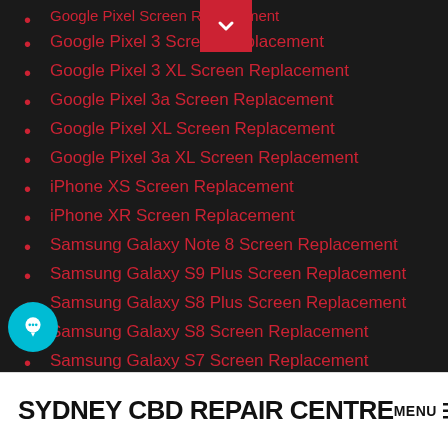Google Pixel Screen Replacement
Google Pixel 3 Screen Replacement
Google Pixel 3 XL Screen Replacement
Google Pixel 3a Screen Replacement
Google Pixel XL Screen Replacement
Google Pixel 3a XL Screen Replacement
iPhone XS Screen Replacement
iPhone XR Screen Replacement
Samsung Galaxy Note 8 Screen Replacement
Samsung Galaxy S9 Plus Screen Replacement
Samsung Galaxy S8 Plus Screen Replacement
Samsung Galaxy S8 Screen Replacement
Samsung Galaxy S7 Screen Replacement
Samsung Galaxy S7 Battery Replacement
Samsung Galaxy Note 5 Battery Replacement
Samsung Galaxy S8 Battery Replacement
Samsung Galaxy J7 Pro Screen Replacement
Samsung Galaxy A8 Screen Replacement
SYDNEY CBD REPAIR CENTRE  MENU ≡